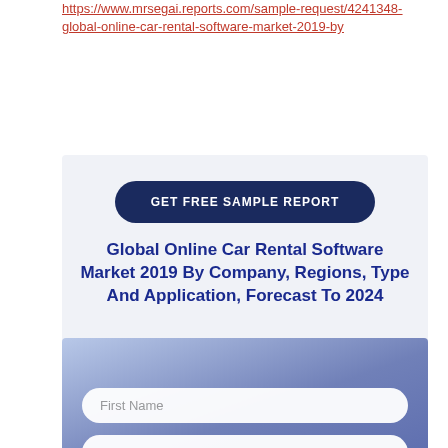https://www.mrsegai.reports.com/sample-request/4241348-global-online-car-rental-software-market-2019-by
[Figure (screenshot): A web page section with a dark navy 'GET FREE SAMPLE REPORT' button, a bold blue title 'Global Online Car Rental Software Market 2019 By Company, Regions, Type And Application, Forecast To 2024', and a form with fields for First Name, Last Name, Email, and Job Title on a blue-grey gradient background.]